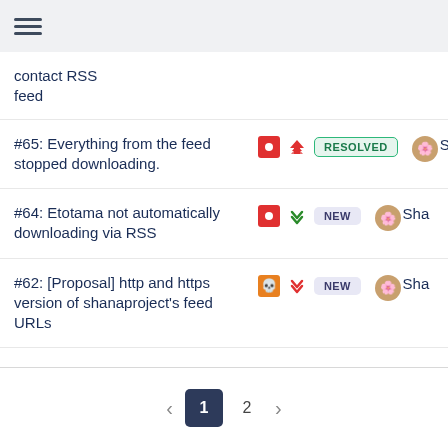☰ (hamburger menu)
contact RSS feed
#65: Everything from the feed stopped downloading. — RESOLVED — Sha
#64: Etotama not automatically downloading via RSS — NEW — Sha
#62: [Proposal] http and https version of shanaproject's feed URLs — NEW — Sha
< 1 2 >